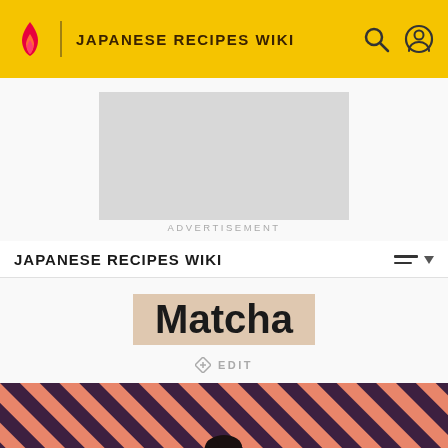JAPANESE RECIPES WIKI
[Figure (other): Advertisement placeholder rectangle]
ADVERTISEMENT
JAPANESE RECIPES WIKI
Matcha
EDIT
[Figure (photo): Striped coral/orange and dark diagonal striped background with a dark-haired person figure visible at bottom center]